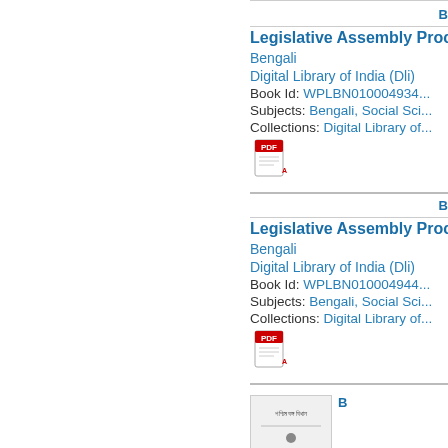Legislative Assembly Proc...
Bengali
Digital Library of India (Dli)
Book Id: WPLBN010004934...
Subjects: Bengali, Social Sci...
Collections: Digital Library of...
[Figure (other): PDF icon]
Legislative Assembly Proc...
Bengali
Digital Library of India (Dli)
Book Id: WPLBN010004944...
Subjects: Bengali, Social Sci...
Collections: Digital Library of...
[Figure (other): PDF icon]
[Figure (other): Book thumbnail preview image]